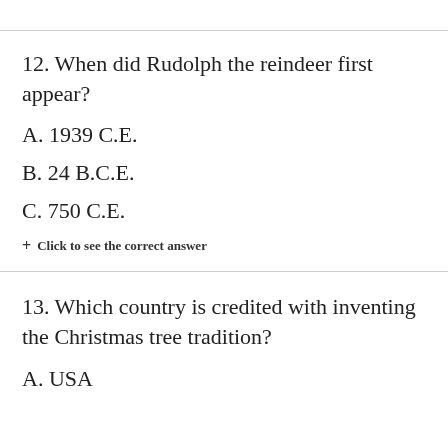12. When did Rudolph the reindeer first appear?
A. 1939 C.E.
B. 24 B.C.E.
C. 750 C.E.
+ Click to see the correct answer
13. Which country is credited with inventing the Christmas tree tradition?
A. USA